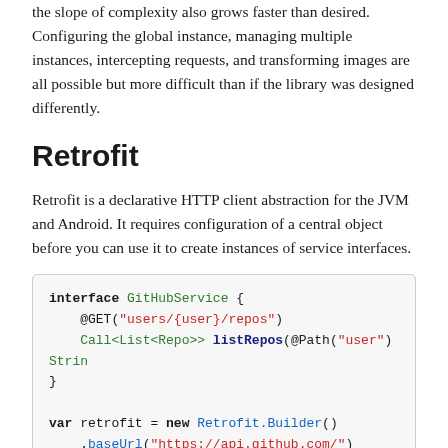the slope of complexity also grows faster than desired. Configuring the global instance, managing multiple instances, intercepting requests, and transforming images are all possible but more difficult than if the library was designed differently.
Retrofit
Retrofit is a declarative HTTP client abstraction for the JVM and Android. It requires configuration of a central object before you can use it to create instances of service interfaces.
[Figure (screenshot): Code block showing a Kotlin interface GitHubService with a @GET annotation and listRepos method, followed by a var retrofit = new Retrofit.Builder() call with .baseUrl and .addConverter chained calls.]